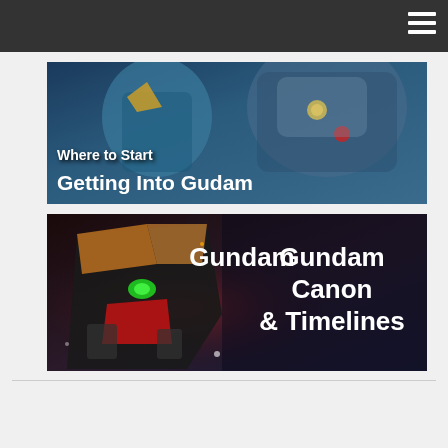[Figure (illustration): Banner image: 'Where to Start Getting Into Gudam' — anime-style mecha robots in blue/teal tones with bold white text overlay]
[Figure (illustration): Banner image: 'Gundam Canon & Timelines' — dark mecha robot with red/gold accents against dark background with bold white text overlay]